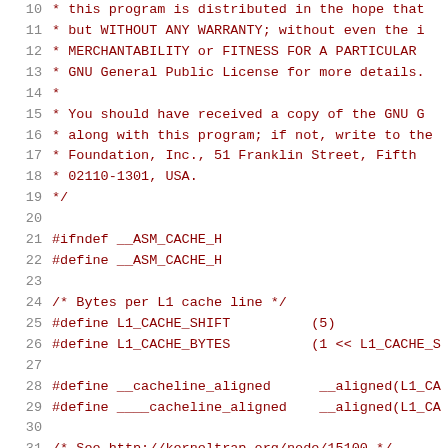Source code listing: lines 10-31, C header file with GPL license comment and cache definitions
10   * this program is distributed in the hope that
11   * but WITHOUT ANY WARRANTY; without even the i
12   * MERCHANTABILITY or FITNESS FOR A PARTICULAR
13   * GNU General Public License for more details.
14   *
15   * You should have received a copy of the GNU G
16   * along with this program; if not, write to the
17   * Foundation, Inc., 51 Franklin Street, Fifth
18   * 02110-1301, USA.
19   */
20
21   #ifndef __ASM_CACHE_H
22   #define __ASM_CACHE_H
23
24   /* Bytes per L1 cache line */
25   #define L1_CACHE_SHIFT          (5)
26   #define L1_CACHE_BYTES          (1 << L1_CACHE_S
27
28   #define __cacheline_aligned      __aligned(L1_CA
29   #define ____cacheline_aligned    __aligned(L1_CA
30
31   /* See http://kerneltrap.org/node/15100 */